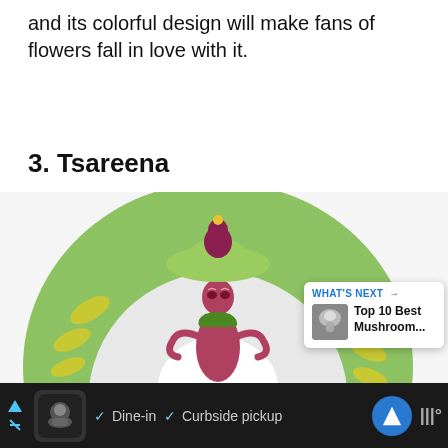and its colorful design will make fans of flowers fall in love with it.
3. Tsareena
[Figure (illustration): Illustration of Tsareena, a Grass-type Pokemon with a large round green leaf hat, pink/magenta body, and white petal-like lower body, posed against a circular green background with yellow oval markings. Social media overlay shows heart (like) button with count of 2 and a share button. A 'What's Next' card shows 'Top 10 Best Mushroom...' with a mushroom thumbnail.]
Dine-in   Curbside pickup